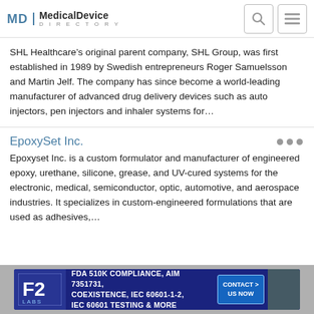MD Medical Device Directory
SHL Healthcare’s original parent company, SHL Group, was first established in 1989 by Swedish entrepreneurs Roger Samuelsson and Martin Jelf. The company has since become a world-leading manufacturer of advanced drug delivery devices such as auto injectors, pen injectors and inhaler systems for…
EpoxySet Inc.
Epoxyset Inc. is a custom formulator and manufacturer of engineered epoxy, urethane, silicone, grease, and UV-cured systems for the electronic, medical, semiconductor, optic, automotive, and aerospace industries. It specializes in custom-engineered formulations that are used as adhesives,…
[Figure (infographic): F2 Labs advertisement banner: FDA 510K Compliance AIM 7351731, Coexistence IEC 60601-1-2, IEC 60601 Testing & More. Contact Us Now button.]